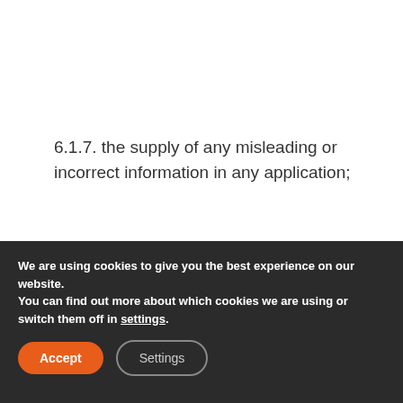6.1.7. the supply of any misleading or incorrect information in any application;
6.1.8. whether at the Ice Rink, or, travelling to or from a Match;
We are using cookies to give you the best experience on our website.
You can find out more about which cookies we are using or switch them off in settings.